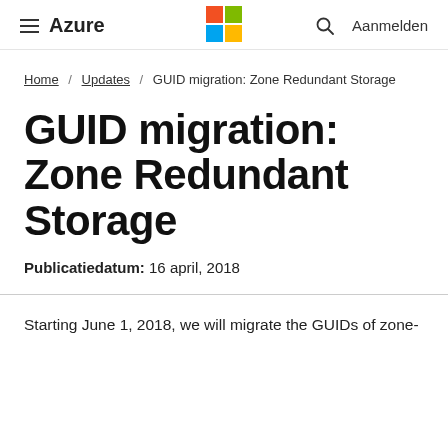≡ Azure  [Microsoft Logo]  🔍  Aanmelden
Home / Updates / GUID migration: Zone Redundant Storage
GUID migration: Zone Redundant Storage
Publicatiedatum: 16 april, 2018
Starting June 1, 2018, we will migrate the GUIDs of zone-